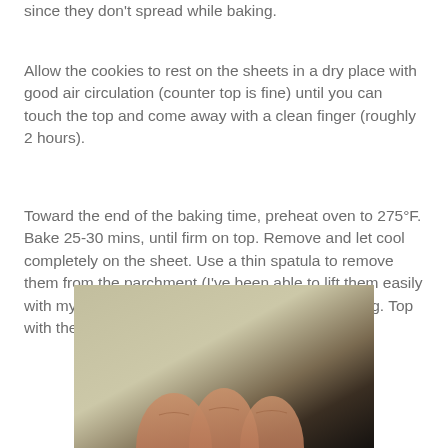since they don't spread while baking.
Allow the cookies to rest on the sheets in a dry place with good air circulation (counter top is fine) until you can touch the top and come away with a clean finger (roughly 2 hours).
Toward the end of the baking time, preheat oven to 275°F. Bake 25-30 mins, until firm on top. Remove and let cool completely on the sheet. Use a thin spatula to remove them from the parchment (I've been able to lift them easily with my hand). Spread half of the cookies with filling. Top with the remaining cookie.
[Figure (photo): A close-up photo of a hand (fingers) against a blurred background with light and dark tones.]